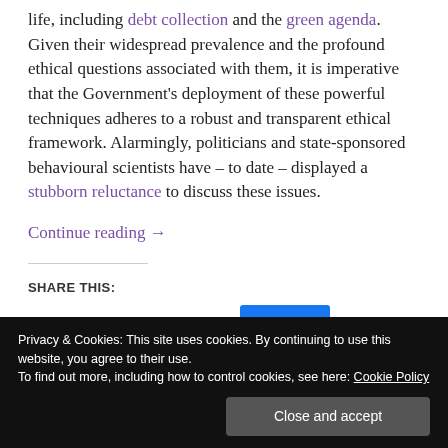life, including debt collection and the green agenda. Given their widespread prevalence and the profound ethical questions associated with them, it is imperative that the Government's deployment of these powerful techniques adheres to a robust and transparent ethical framework. Alarmingly, politicians and state-sponsored behavioural scientists have – to date – displayed a stubborn reluctance to discuss these issues.
Continue reading →
SHARE THIS:
Privacy & Cookies: This site uses cookies. By continuing to use this website, you agree to their use.
To find out more, including how to control cookies, see here: Cookie Policy
Close and accept
1 Bloggers like this: